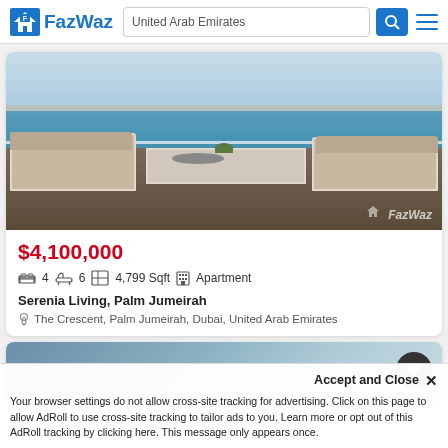FazWaz — United Arab Emirates
[Figure (photo): Outdoor rooftop terrace with white sofa furniture and coffee table overlooking the sea and city skyline, watermarked FazWaz]
$4,100,000
4  6  4,799 Sqft  Apartment
Serenia Living, Palm Jumeirah
The Crescent, Palm Jumeirah, Dubai, United Arab Emirates
[Figure (photo): Partial view of a second property listing photo]
Accept and Close ×
Your browser settings do not allow cross-site tracking for advertising. Click on this page to allow AdRoll to use cross-site tracking to tailor ads to you. Learn more or opt out of this AdRoll tracking by clicking here. This message only appears once.